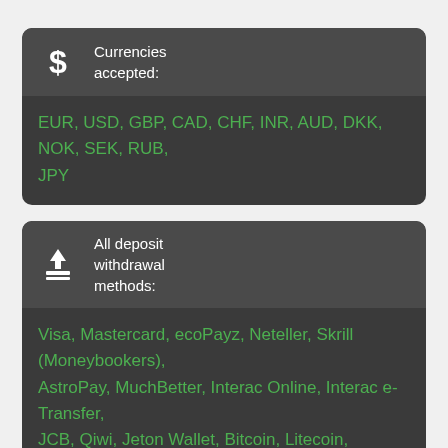Currencies accepted:
EUR, USD, GBP, CAD, CHF, INR, AUD, DKK, NOK, SEK, RUB, JPY
All deposit withdrawal methods:
Visa, Mastercard, ecoPayz, Neteller, Skrill (Moneybookers), AstroPay, MuchBetter, Interac Online, Interac e-Transfer, JCB, Qiwi, Jeton Wallet, Bitcoin, Litecoin, Euteller, Sofort, Trustly, Multibanco, Neosurf, Dogecoin
Method